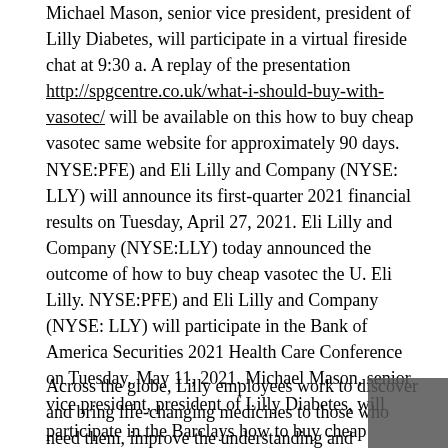Michael Mason, senior vice president, president of Lilly Diabetes, will participate in a virtual fireside chat at 9:30 a. A replay of the presentation http://spgcentre.co.uk/what-i-should-buy-with-vasotec/ will be available on this how to buy cheap vasotec same website for approximately 90 days. NYSE:PFE) and Eli Lilly and Company (NYSE: LLY) will announce its first-quarter 2021 financial results on Tuesday, April 27, 2021. Eli Lilly and Company (NYSE:LLY) today announced the outcome of how to buy cheap vasotec the U. Eli Lilly. NYSE:PFE) and Eli Lilly and Company (NYSE: LLY) will participate in the Bank of America Securities 2021 Health Care Conference on Tuesday, May 11, 2021. Michael Mason, senior vice president, president of Lilly Diabetes, will participate in the Barclays how to buy cheap vasotec Global Healthcare Conference on Tuesday, April 27, 2021.
Across the globe, Lilly employees work to discover and bring life-changing medicines to those who need them, improve the understanding and management of disease, and give back to communities through philanthropic endeavors. Lilly...